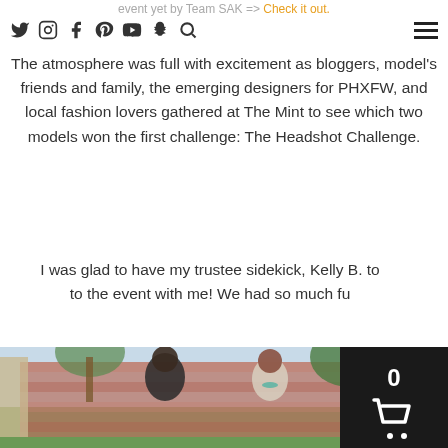event yet by Team SAK => Check it out.
navigation icons: Twitter, Instagram, Facebook, Pinterest, YouTube, Snapchat, Search, Menu
The atmosphere was full with excitement as bloggers, model's friends and family, the emerging designers for PHXFW, and local fashion lovers gathered at The Mint to see which two models won the first challenge: The Headshot Challenge.
I was glad to have my trustee sidekick, Kelly B. to the event with me! We had so much fu
[Figure (photo): Two women smiling and posing outdoors in front of a brick wall with palm trees in the background. The woman on the left wears a dark patterned maxi dress with an orange belt. The woman on the right wears a light floral short-sleeve dress with a teal necklace.]